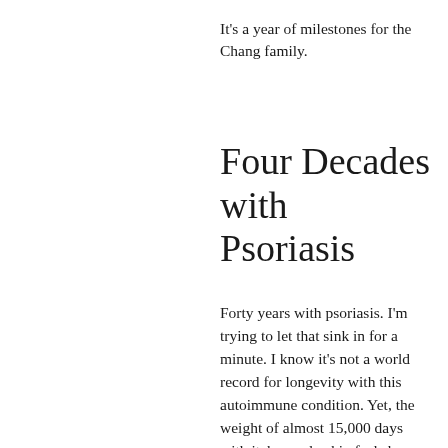It’s a year of milestones for the Chang family.
Four Decades with Psoriasis
Forty years with psoriasis. I’m trying to let that sink in for a minute. I know it’s not a world record for longevity with this autoimmune condition. Yet, the weight of almost 15,000 days with itchy, scaly skin feels heavy on my mind and heart. So many of those days I felt depressed, beaten, and lost. Some days felt extremely hard, like psoriasis was the thing itself.